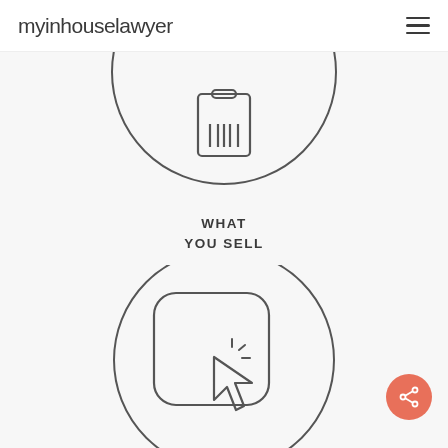myinhouselawyer
[Figure (illustration): Circle outline with a shopping tag / barcode icon inside, representing 'What You Sell']
WHAT YOU SELL
[Figure (illustration): Circle outline with a rounded-square containing a cursor click icon inside, representing 'What You Buy In']
WHAT YOU BUY IN